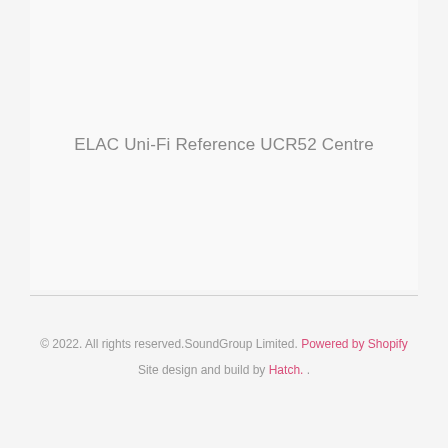ELAC Uni-Fi Reference UCR52 Centre
© 2022. All rights reserved.SoundGroup Limited. Powered by Shopify Site design and build by Hatch. .